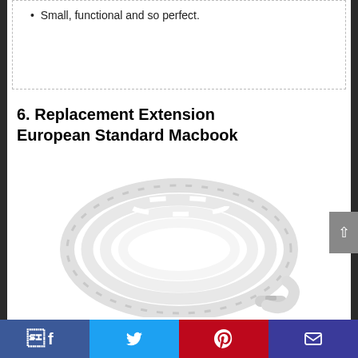Small, functional and so perfect.
6. Replacement Extension European Standard Macbook
[Figure (photo): A white coiled Macbook replacement extension cord/cable, photographed against a white background.]
Facebook | Twitter | Pinterest | Email social sharing bar